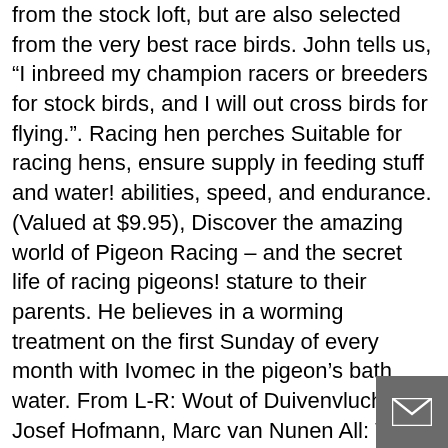from the stock loft, but are also selected from the very best race birds. John tells us, "I inbreed my champion racers or breeders for stock birds, and I will out cross birds for flying.". Racing hen perches Suitable for racing hens, ensure supply in feeding stuff and water! abilities, speed, and endurance. (Valued at $9.95), Discover the amazing world of Pigeon Racing – and the secret life of racing pigeons! stature to their parents. He believes in a worming treatment on the first Sunday of every month with Ivomec in the pigeon's bath water. From L-R: Wout of Duivenvlucht.nl, Josef Hofmann, Marc van Nunen All: What about loyalty? I have pigeons and I really love them. Once hatched, John will take the babies away from their parents at 25 days old. Johan, I have a few of your pigeons and I want to thank you for such great performance pigeons. 521 talking about this. I handle all of my potential breeders regularly to establish in my